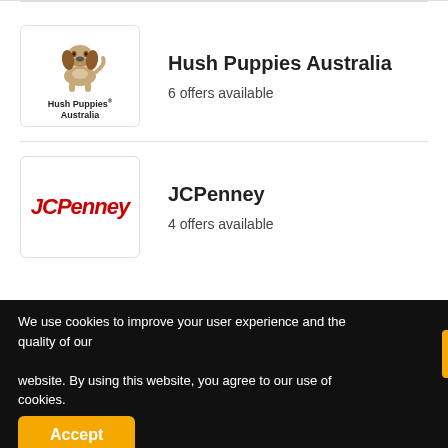[Figure (logo): Hush Puppies Australia logo with basset hound dog illustration and brand text]
Hush Puppies Australia
6 offers available
[Figure (logo): JCPenney logo in red italic text]
JCPenney
4 offers available
We use cookies to improve your user experience and the quality of our website. By using this website, you agree to our use of cookies.
Accept